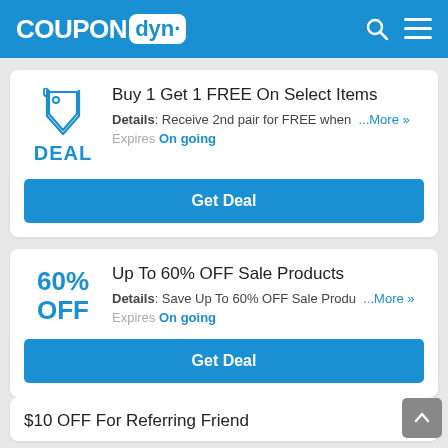COUPON dyn.
Buy 1 Get 1 FREE On Select Items
Details: Receive 2nd pair for FREE when ...More »
Expires On going
Get Deal
Up To 60% OFF Sale Products
Details: Save Up To 60% OFF Sale Produ ...More »
Expires On going
Get Deal
$10 OFF For Referring Friend